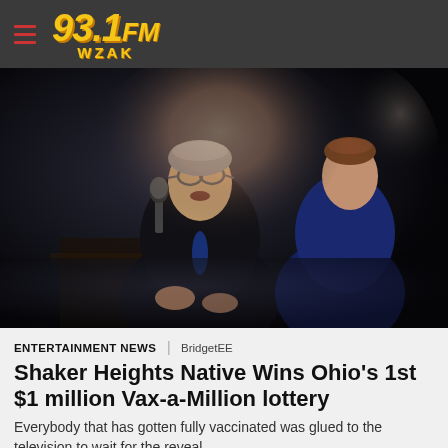93.1 FM WZAK
[Figure (photo): Two men in dark suits on a dark stage near a microphone; the man in front wearing glasses appears to be speaking or celebrating]
ENTERTAINMENT NEWS | BridgetEE
Shaker Heights Native Wins Ohio's 1st $1 million Vax-a-Million lottery
Everybody that has gotten fully vaccinated was glued to the television to wait for the reveal...